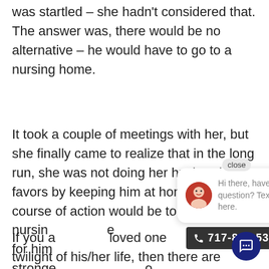was startled – she hadn't considered that. The answer was, there would be no alternative – he would have to go to a nursing home.
It took a couple of meetings with her, but she finally came to realize that in the long run, she was not doing her husband any favors by keeping him at home; her best course of action would be to find a great nursing home for him ... stronger ... she could ... in her h...
[Figure (screenshot): Chat widget popup with avatar and message 'Hi there, have a question? Text us here.' and a close button. Also a phone number bar '717-845-5390' and a chat icon button.]
If you a... loved one... twilight of his/her life, then there are things